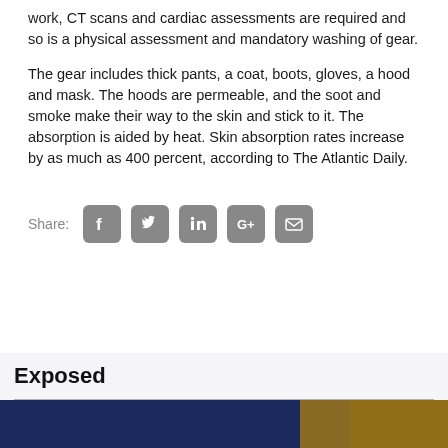work, CT scans and cardiac assessments are required and so is a physical assessment and mandatory washing of gear.
The gear includes thick pants, a coat, boots, gloves, a hood and mask. The hoods are permeable, and the soot and smoke make their way to the skin and stick to it. The absorption is aided by heat. Skin absorption rates increase by as much as 400 percent, according to The Atlantic Daily.
[Figure (infographic): Social share buttons row: Share label followed by icons for Facebook, Twitter, LinkedIn, Google+, and Email, all in grey rounded square style.]
Exposed
[Figure (photo): Partial view of a photo strip at the bottom of the page with dark blue and gold tones.]